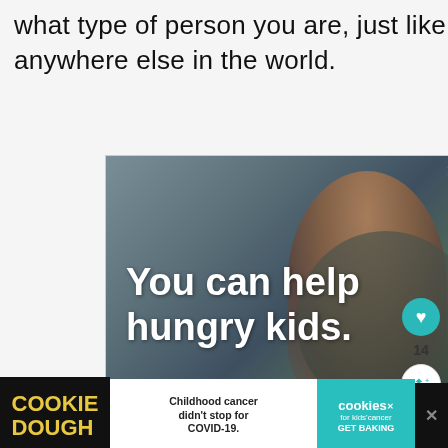what type of person you are, just like anywhere else in the world.
[Figure (photo): Advertisement for No Kid Hungry showing a young boy eating, with text 'You can help hungry kids.' and a 'LEARN HOW' button on an orange background with No Kid Hungry logo]
[Figure (infographic): Bottom banner ad for Cookie Dough with text 'Childhood cancer didn't stop for COVID-19.' and 'cookies for kids cancer GET BAKING']